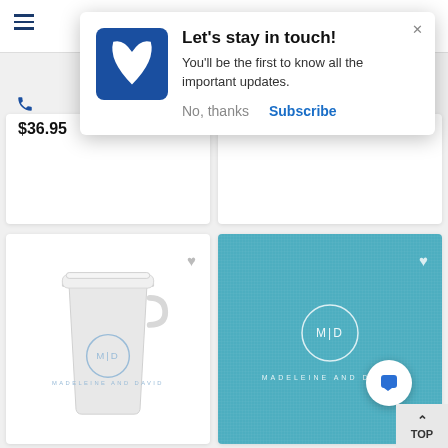[Figure (screenshot): Mobile website popup notification: 'Let's stay in touch!' with logo, body text, No thanks and Subscribe buttons overlaid on a product listing page showing $36.95 price, 20% OFF badge, and two personalized products (cup and teal card) with monogram 'M|D MADELEINE AND DAVID']
Let's stay in touch!
You'll be the first to know all the important updates.
No, thanks
Subscribe
$36.95
20% OFF